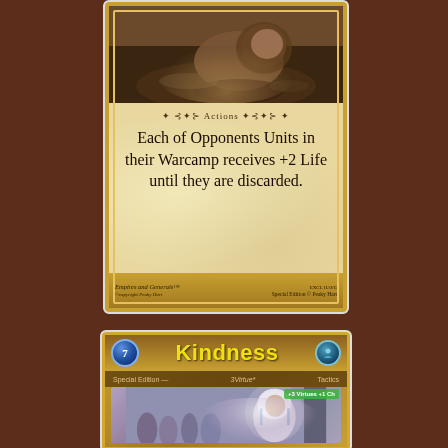[Figure (illustration): Top trading card from 'Empires and Generals' game. Shows a photo of a lion at top, an Actions text box with ornate border reading 'Each of Opponents Units in their Warcamp receives +2 Life until they are discarded.', and a golden footer strip with 'Empires and Generals' branding.]
Actions
Each of Opponents Units in their Warcamp receives +2 Life until they are discarded.
Empires and Generals
Special Edition © Peaky Hart
[Figure (illustration): Bottom trading card titled 'Kindness' from 'Empires and Generals' Special Edition. Header shows blue orb icon with '7', yellow 'Kindness' title text, and teal person icon. Subheader reads 'Special Edition — Virtue — Tactics'. Photo shows Mother Teresa in white habit with crowd in background. Green badge reads '+3 Virtues +1 Ch'.]
Kindness
Special Edition   3Virtue*   Tactics
+3 Virtues +1 Ch